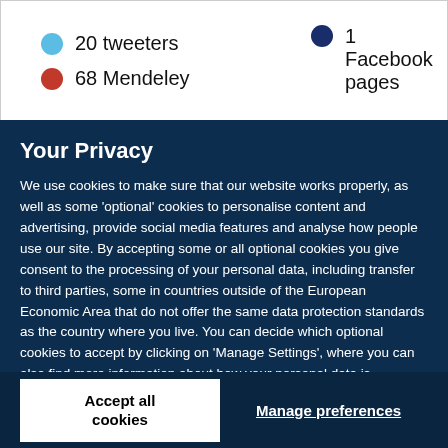20 tweeters
1 Facebook pages
68 Mendeley
Your Privacy
We use cookies to make sure that our website works properly, as well as some ‘optional’ cookies to personalise content and advertising, provide social media features and analyse how people use our site. By accepting some or all optional cookies you give consent to the processing of your personal data, including transfer to third parties, some in countries outside of the European Economic Area that do not offer the same data protection standards as the country where you live. You can decide which optional cookies to accept by clicking on ‘Manage Settings’, where you can also find more information about how your personal data is processed. Further information can be found in our privacy policy.
Accept all cookies
Manage preferences